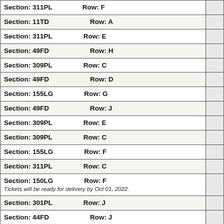| Section/Row | Side |
| --- | --- |
| Section: 311PL   Row: F |  |
| Section: 11TD   Row: A |  |
| Section: 311PL   Row: E |  |
| Section: 49FD   Row: H |  |
| Section: 309PL   Row: C |  |
| Section: 49FD   Row: D |  |
| Section: 155LG   Row: G |  |
| Section: 49FD   Row: J |  |
| Section: 309PL   Row: E |  |
| Section: 309PL   Row: C |  |
| Section: 155LG   Row: F |  |
| Section: 311PL   Row: C |  |
| Section: 150LG   Row: F
Tickets will be ready for delivery by Oct 01, 2022. |  |
| Section: 301PL   Row: J |  |
| Section: 44FD   Row: J |  |
| Section: 303PL   Row: C |  |
| Section: 8RS   Row: A |  |